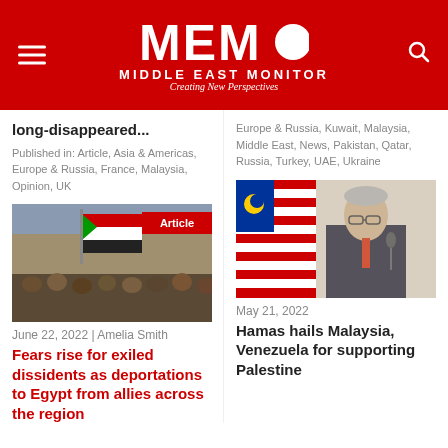MEMO MIDDLE EAST MONITOR — Creating New Perspectives
long-disappeared...
Published in: Article, Asia & Americas, Europe & Russia, France, Malaysia, Opinion, UK
Europe & Russia, Kuwait, Malaysia, Middle East, News, Pakistan, Qatar, Russia, Turkey, UAE, Ukraine
[Figure (photo): Crowd holding Sudanese flags at a protest, with Article tag overlay]
June 22, 2022 | Amelia Smith
Fears rise for exiled dissidents as deportations to Egypt from allies across the region
[Figure (photo): Malaysian official in suit standing in front of Malaysian flag at a podium]
May 21, 2022
Hamas hails Malaysia, Venezuela for supporting Palestine